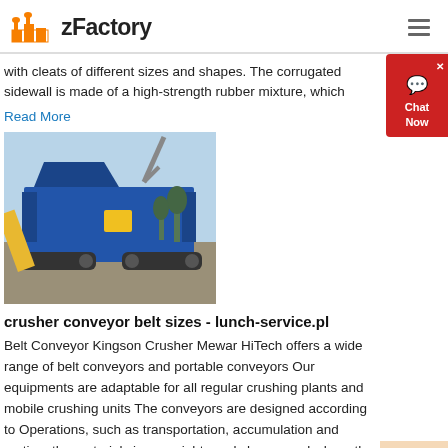zFactory
with cleats of different sizes and shapes. The corrugated sidewall is made of a high-strength rubber mixture, which
Read More
[Figure (photo): Blue tracked mobile crusher/screening machine on a construction/quarry site with excavator arm visible in background]
crusher conveyor belt sizes - lunch-service.pl
Belt Conveyor Kingson Crusher Mewar HiTech offers a wide range of belt conveyors and portable conveyors Our equipments are adaptable for all regular crushing plants and mobile crushing units The conveyors are designed according to Operations, such as transportation, accumulation and sorting, the material sizes, weights and shapes and where the loading and pickup points need to be
Read More